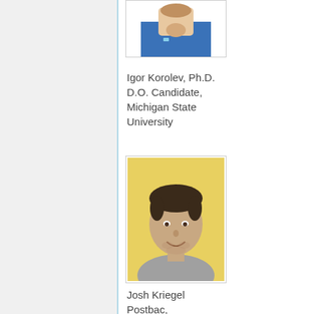[Figure (photo): Partial photo of a person at the top, cropped — only lower face/hands visible, wearing blue.]
Igor Korolev, Ph.D. D.O. Candidate, Michigan State University
[Figure (photo): Headshot of Josh Kriegel, a young man smiling, against a yellow background, wearing a gray t-shirt.]
Josh Kriegel Postbac, Columbia University
[Figure (photo): Partial photo at the bottom — top of a person's head with dark hair, cropped.]